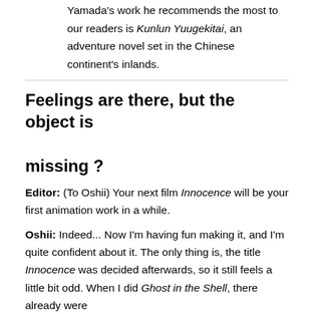Yamada's work he recommends the most to our readers is Kunlun Yuugekitai, an adventure novel set in the Chinese continent's inlands.
Feelings are there, but the object is missing ?
Editor: (To Oshii) Your next film Innocence will be your first animation work in a while.
Oshii: Indeed... Now I'm having fun making it, and I'm quite confident about it. The only thing is, the title Innocence was decided afterwards, so it still feels a little bit odd. When I did Ghost in the Shell, there already were